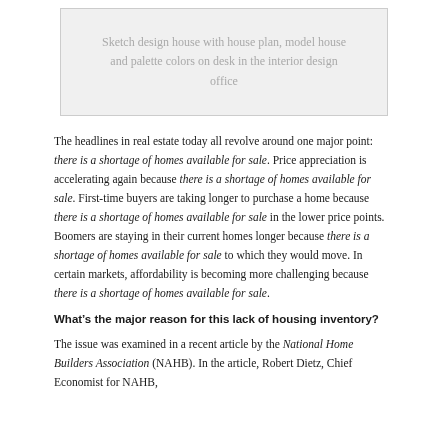[Figure (photo): Sketch design house with house plan, model house and palette colors on desk in the interior design office]
The headlines in real estate today all revolve around one major point: there is a shortage of homes available for sale. Price appreciation is accelerating again because there is a shortage of homes available for sale. First-time buyers are taking longer to purchase a home because there is a shortage of homes available for sale in the lower price points. Boomers are staying in their current homes longer because there is a shortage of homes available for sale to which they would move. In certain markets, affordability is becoming more challenging because there is a shortage of homes available for sale.
What’s the major reason for this lack of housing inventory?
The issue was examined in a recent article by the National Home Builders Association (NAHB). In the article, Robert Dietz, Chief Economist for NAHB,